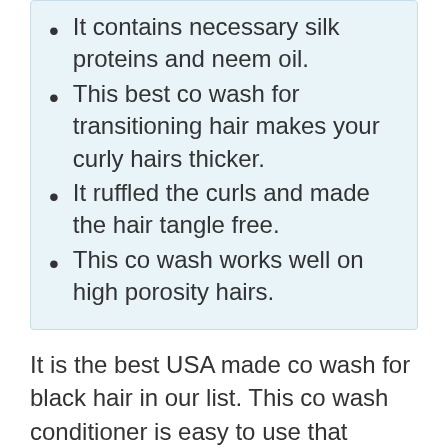It contains necessary silk proteins and neem oil.
This best co wash for transitioning hair makes your curly hairs thicker.
It ruffled the curls and made the hair tangle free.
This co wash works well on high porosity hairs.
It is the best USA made co wash for black hair in our list. This co wash conditioner is easy to use that leaves a gentle and soft feel on hairs. The main ingredients of this